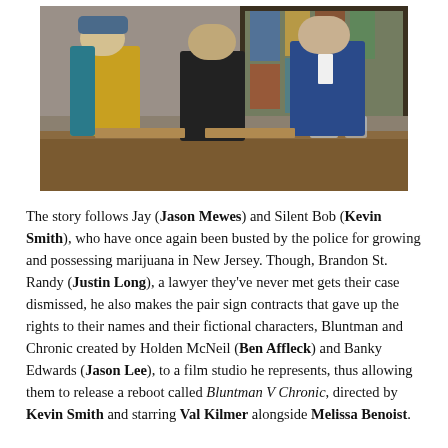[Figure (photo): Three people standing in what appears to be a courtroom or formal room with stained glass windows. Left person wears a yellow and teal jacket with a beanie hat. Middle person wears all black. Right person wears a blue suit and is adjusting their tie. A wooden table with glasses of water is in the foreground.]
The story follows Jay (Jason Mewes) and Silent Bob (Kevin Smith), who have once again been busted by the police for growing and possessing marijuana in New Jersey. Though, Brandon St. Randy (Justin Long), a lawyer they've never met gets their case dismissed, he also makes the pair sign contracts that gave up the rights to their names and their fictional characters, Bluntman and Chronic created by Holden McNeil (Ben Affleck) and Banky Edwards (Jason Lee), to a film studio he represents, thus allowing them to release a reboot called Bluntman V Chronic, directed by Kevin Smith and starring Val Kilmer alongside Melissa Benoist.